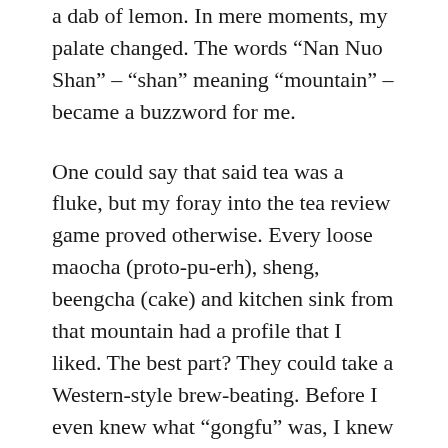a dab of lemon. In mere moments, my palate changed. The words “Nan Nuo Shan” – “shan” meaning “mountain” – became a buzzword for me.
One could say that said tea was a fluke, but my foray into the tea review game proved otherwise. Every loose maocha (proto-pu-erh), sheng, beengcha (cake) and kitchen sink from that mountain had a profile that I liked. The best part? They could take a Western-style brew-beating. Before I even knew what “gongfu” was, I knew how much I liked teas from Nan Nuo.
I just didn’t realize how little I actually knew about the mountain until running across JalamTeas. For those that haven’t heard of them, they’re a relatively new pu-erh appreciation service. For you see, they care about t...